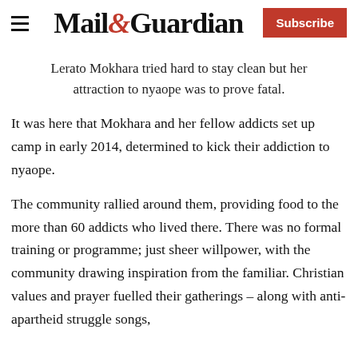Mail&Guardian | Subscribe
Lerato Mokhara tried hard to stay clean but her attraction to nyaope was to prove fatal.
It was here that Mokhara and her fellow addicts set up camp in early 2014, determined to kick their addiction to nyaope.
The community rallied around them, providing food to the more than 60 addicts who lived there. There was no formal training or programme; just sheer willpower, with the community drawing inspiration from the familiar. Christian values and prayer fuelled their gatherings – along with anti-apartheid struggle songs,